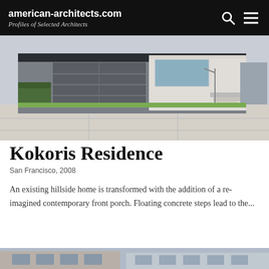american-architects.com — Profiles of Selected Architects
[Figure (photo): Street-level photograph of a modern hillside residence in San Francisco, showing a grey concrete facade with large garage door, green hedges, and a contemporary entrance with steps.]
Kokoris Residence
San Francisco, 2008
An existing hillside home is transformed with the addition of a re-imagined contemporary front porch. Floating concrete steps lead to the...
[Figure (photo): Partial view of another architectural project or additional view of the Kokoris Residence, showing upper portion of a building facade.]